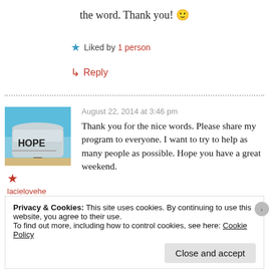the word. Thank you! 🙂
★ Liked by 1 person
↳ Reply
August 22, 2014 at 3:46 pm
[Figure (photo): Photo of a silver mailbox with the word HOPE written on it, against a blue sky]
lacielovehester
Thank you for the nice words. Please share my program to everyone. I want to try to help as many people as possible. Hope you have a great weekend.
Privacy & Cookies: This site uses cookies. By continuing to use this website, you agree to their use. To find out more, including how to control cookies, see here: Cookie Policy
Close and accept